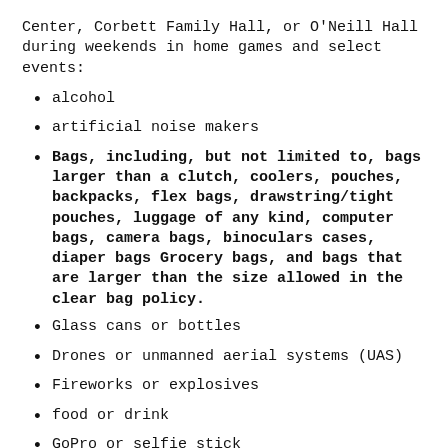Center, Corbett Family Hall, or O'Neill Hall during weekends in home games and select events:
alcohol
artificial noise makers
Bags, including, but not limited to, bags larger than a clutch, coolers, pouches, backpacks, flex bags, drawstring/tight pouches, luggage of any kind, computer bags, camera bags, binoculars cases, diaper bags Grocery bags, and bags that are larger than the size allowed in the clear bag policy.
Glass cans or bottles
Drones or unmanned aerial systems (UAS)
Fireworks or explosives
food or drink
GoPro or selfie stick
large containers
laser pointers or pen